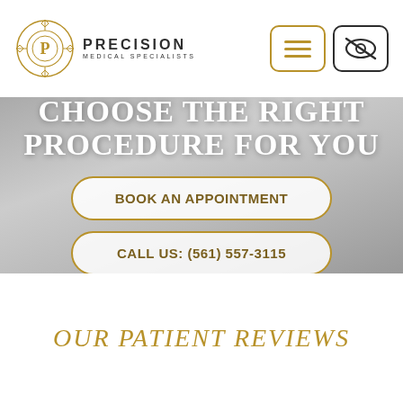[Figure (logo): Precision Medical Specialists logo with decorative circular gold emblem and text]
CHOOSE THE RIGHT PROCEDURE FOR YOU
BOOK AN APPOINTMENT
CALL US: (561) 557-3115
OUR PATIENT REVIEWS